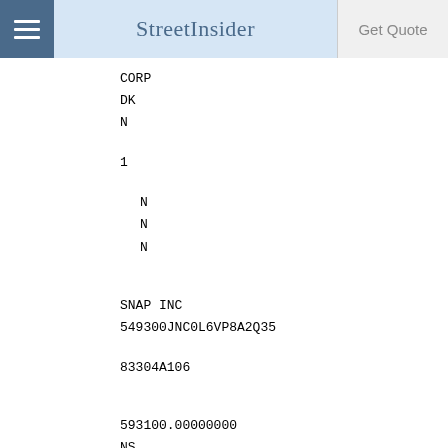StreetInsider | Get Quote
CORP
DK
N
1
N
N
N
SNAP INC
549300JNC0L6VP8A2Q35
83304A106
593100.00000000
NS
USD
21345669.00000000